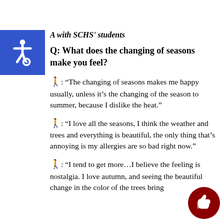A with SCHS' students
Q: What does the changing of seasons make you feel?
⚠: “The changing of seasons makes me happy usually, unless it’s the changing of the season to summer, because I dislike the heat.”
⚠: “I love all the seasons, I think the weather and trees and everything is beautiful, the only thing that’s annoying is my allergies are so bad right now.”
⚠: “I tend to get more…I believe the feeling is nostalgia. I love autumn, and seeing the beautiful change in the color of the trees bring...